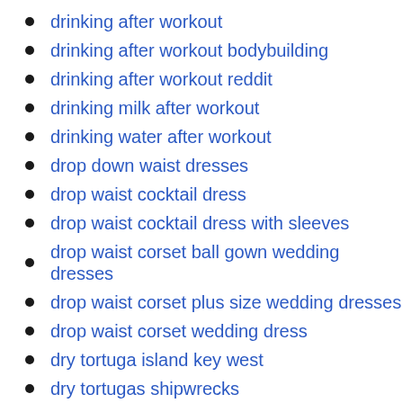drinking after workout
drinking after workout bodybuilding
drinking after workout reddit
drinking milk after workout
drinking water after workout
drop down waist dresses
drop waist cocktail dress
drop waist cocktail dress with sleeves
drop waist corset ball gown wedding dresses
drop waist corset plus size wedding dresses
drop waist corset wedding dress
dry tortuga island key west
dry tortugas shipwrecks
dungarees denim dress for girls
dupioni silk mother of the bride dresses